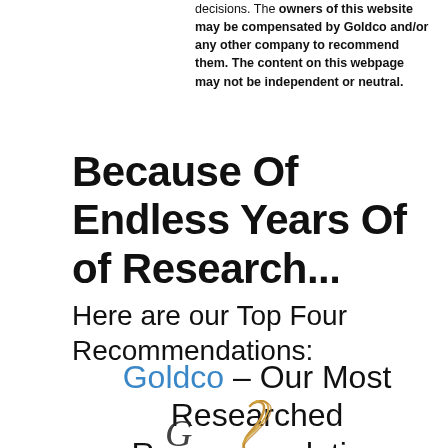decisions. The owners of this website may be compensated by Goldco and/or any other company to recommend them. The content on this webpage may not be independent or neutral.
Because Of Endless Years Of of Research...
Here are our Top Four Recommendations:
Goldco – Our Most Researched Recommendation
[Figure (logo): Goldco logo — partial golden swirl and cursive text visible at bottom of page]